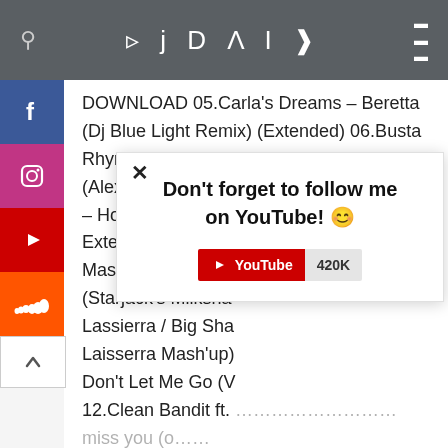DJ DARK
DOWNLOAD 05.Carla's Dreams – Beretta (Dj Blue Light Remix) (Extended) 06.Busta Rhymes – I Know What You Want (Alexander Holsten Remix) 07.Charlie Puth – How Long ... Extended) 08.Came... Mash-Up) 09.Dirty... (Starjack's Milksha... Lassierra / Big Sha... Laisserra Mash'up) ... Don't Let Me Go (V... 12.Clean Bandit ft. ... Miss You (O... & Ramirez Remix) 13.Joe Stone & Cr3on – Is It Really Love (Extended Mix) 14.Conor Maynard, SDJM – That Way (Extended Mix) 15.Lexter – Freedom To Love (John Reyton Remix) 16.CID – I Miss You (Extended
[Figure (screenshot): Popup overlay saying 'Don't forget to follow me on YouTube!' with a smiling emoji, a close X button, and a YouTube subscribe badge showing 420K subscribers]
[Figure (logo): Social media sidebar with Facebook (blue), Instagram (gradient), YouTube (red), SoundCloud (orange) icons and a scroll-up arrow button]